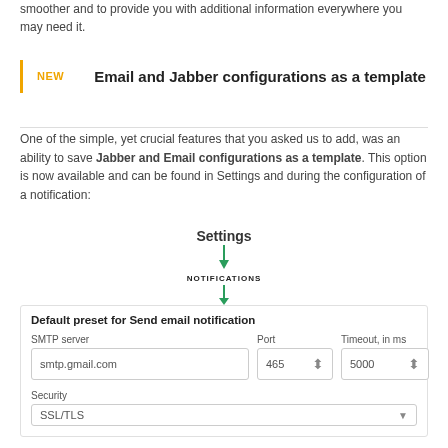smoother and to provide you with additional information everywhere you may need it.
NEW  Email and Jabber configurations as a template
One of the simple, yet crucial features that you asked us to add, was an ability to save Jabber and Email configurations as a template. This option is now available and can be found in Settings and during the configuration of a notification:
[Figure (screenshot): UI navigation diagram showing Settings -> NOTIFICATIONS -> Default preset for Send email notification form with SMTP server (smtp.gmail.com), Port (465), Timeout in ms (5000), and Security (SSL/TLS) fields]
Default preset for Send email notification
SMTP server: smtp.gmail.com, Port: 465, Timeout, in ms: 5000, Security: SSL/TLS